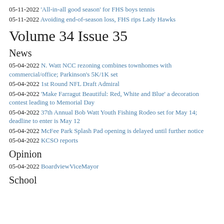05-11-2022 'All-in-all good season' for FHS boys tennis
05-11-2022 Avoiding end-of-season loss, FHS rips Lady Hawks
Volume 34 Issue 35
News
05-04-2022 N. Watt NCC rezoning combines townhomes with commercial/office; Parkinson's 5K/1K set
05-04-2022 1st Round NFL Draft Admiral
05-04-2022 'Make Farragut Beautiful: Red, White and Blue' a decoration contest leading to Memorial Day
05-04-2022 37th Annual Bob Watt Youth Fishing Rodeo set for May 14; deadline to enter is May 12
05-04-2022 McFee Park Splash Pad opening is delayed until further notice
05-04-2022 KCSO reports
Opinion
05-04-2022 BoardviewViceMayor
School